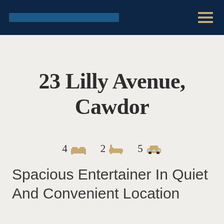23 Lilly Avenue, Cawdor — navigation bar with hamburger menu
23 Lilly Avenue, Cawdor
4 [bed icon]   2 [bath icon]   5 [garage icon]
Spacious Entertainer In Quiet And Convenient Location